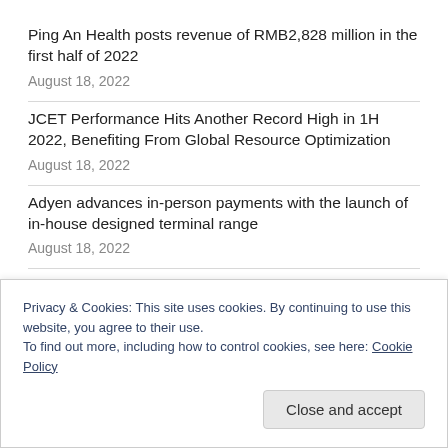Ping An Health posts revenue of RMB2,828 million in the first half of 2022
August 18, 2022
JCET Performance Hits Another Record High in 1H 2022, Benefiting From Global Resource Optimization
August 18, 2022
Adyen advances in-person payments with the launch of in-house designed terminal range
August 18, 2022
Yeahka Limited to Report 2022 Interim Results on
Privacy & Cookies: This site uses cookies. By continuing to use this website, you agree to their use.
To find out more, including how to control cookies, see here: Cookie Policy